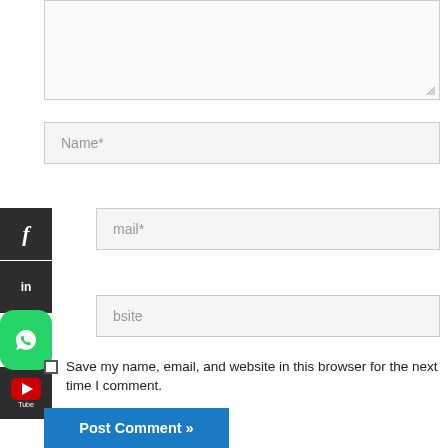[Figure (screenshot): Textarea input box (comment field) with resize handle at bottom-right]
[Figure (screenshot): Text input field with placeholder 'Name*']
[Figure (screenshot): Text input field with placeholder 'mail*' (Email)]
[Figure (screenshot): Text input field with placeholder 'bsite' (Website)]
[Figure (infographic): Social media sidebar with Facebook, LinkedIn, WhatsApp, and YouTube icons]
Save my name, email, and website in this browser for the next time I comment.
[Figure (screenshot): Blue 'Post Comment »' button]